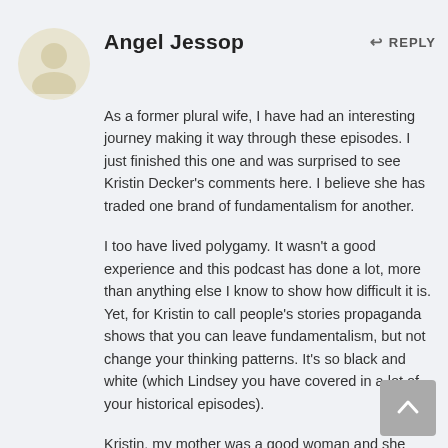Angel Jessop
REPLY
As a former plural wife, I have had an interesting journey making it way through these episodes. I just finished this one and was surprised to see Kristin Decker's comments here. I believe she has traded one brand of fundamentalism for another.
I too have lived polygamy. It wasn't a good experience and this podcast has done a lot, more than anything else I know to show how difficult it is. Yet, for Kristin to call people's stories propaganda shows that you can leave fundamentalism, but not change your thinking patterns. It's so black and white (which Lindsey you have covered in a lot of your historical episodes).
Kristin, my mother was a good woman and she